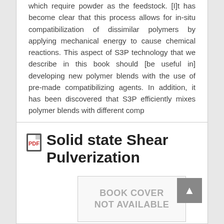which require powder as the feedstock. [I]t has become clear that this process allows for in-situ compatibilization of dissimilar polymers by applying mechanical energy to cause chemical reactions. This aspect of S3P technology that we describe in this book should [be useful in] developing new polymer blends with the use of pre-made compatibilizing agents. In addition, it has been discovered that S3P efficiently mixes polymer blends with different comp
Solid state Shear Pulverization
[Figure (other): Book cover placeholder showing 'BOOK COVER NOT AVAILABLE' text in a bordered box]